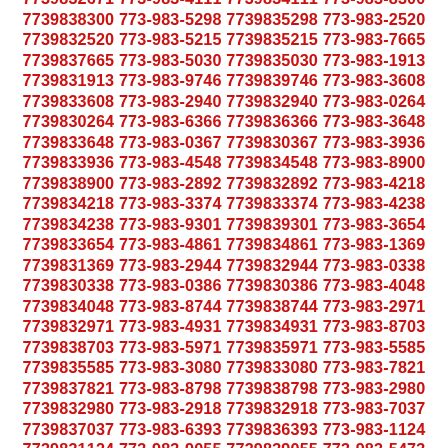7739835012 773-983-2881 7739832881 773-983-2671 7739832671 773-983-4111 7739834111 773-983-8300 7739838300 773-983-5298 7739835298 773-983-2520 7739832520 773-983-5215 7739835215 773-983-7665 7739837665 773-983-5030 7739835030 773-983-1913 7739831913 773-983-9746 7739839746 773-983-3608 7739833608 773-983-2940 7739832940 773-983-0264 7739830264 773-983-6366 7739836366 773-983-3648 7739833648 773-983-0367 7739830367 773-983-3936 7739833936 773-983-4548 7739834548 773-983-8900 7739838900 773-983-2892 7739832892 773-983-4218 7739834218 773-983-3374 7739833374 773-983-4238 7739834238 773-983-9301 7739839301 773-983-3654 7739833654 773-983-4861 7739834861 773-983-1369 7739831369 773-983-2944 7739832944 773-983-0338 7739830338 773-983-0386 7739830386 773-983-4048 7739834048 773-983-8744 7739838744 773-983-2971 7739832971 773-983-4931 7739834931 773-983-8703 7739838703 773-983-5971 7739835971 773-983-5585 7739835585 773-983-3080 7739833080 773-983-7821 7739837821 773-983-8798 7739838798 773-983-2980 7739832980 773-983-2918 7739832918 773-983-7037 7739837037 773-983-6393 7739836393 773-983-1124 7739831124 773-983-9055 7739839055 773-983-5473 7739835473 773-983-3131 7739833131 773-983-1760